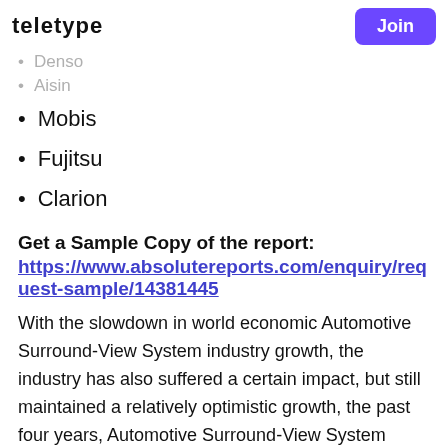TELETYPE | Join
Denso
Aisin
Mobis
Fujitsu
Clarion
Get a Sample Copy of the report:
https://www.absolutereports.com/enquiry/request-sample/14381445
With the slowdown in world economic Automotive Surround-View System industry growth, the industry has also suffered a certain impact, but still maintained a relatively optimistic growth, the past four years, Automotive Surround-View System market size to maintain the average annual growth rate of XXX from XXX million $ in 2014 to XXX